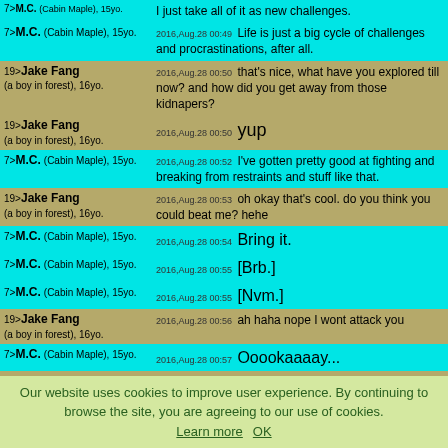7>M.C. (Cabin Maple), 15yo. | 2016,Aug.28 00:49 Life is just a big cycle of challenges and procrastinations, after all.
19>Jake Fang (a boy in forest), 16yo. | 2016,Aug.28 00:50 that's nice, what have you explored till now? and how did you get away from those kidnapers?
19>Jake Fang (a boy in forest), 16yo. | 2016,Aug.28 00:50 yup
7>M.C. (Cabin Maple), 15yo. | 2016,Aug.28 00:52 I've gotten pretty good at fighting and breaking from restraints and stuff like that.
19>Jake Fang (a boy in forest), 16yo. | 2016,Aug.28 00:53 oh okay that's cool. do you think you could beat me? hehe
7>M.C. (Cabin Maple), 15yo. | 2016,Aug.28 00:54 Bring it.
7>M.C. (Cabin Maple), 15yo. | 2016,Aug.28 00:55 [Brb.]
7>M.C. (Cabin Maple), 15yo. | 2016,Aug.28 00:55 [Nvm.]
19>Jake Fang (a boy in forest), 16yo. | 2016,Aug.28 00:56 ah haha nope I wont attack you
7>M.C. (Cabin Maple), 15yo. | 2016,Aug.28 00:57 Ooookaaaay...
19>Jake Fang (a boy in forest), 16yo. | 2016,Aug.28 00:58 what
7>M.C. (Cabin Maple), 15yo. | 2016,Aug.28 01:04 *silence*
19>Jake Fang (a boy in forest), 16yo. | 2016,Aug.28 01:09 are you gona punch me? there's something with that silence..
Our website uses cookies to improve user experience. By continuing to browse the site, you are agreeing to our use of cookies. Learn more OK